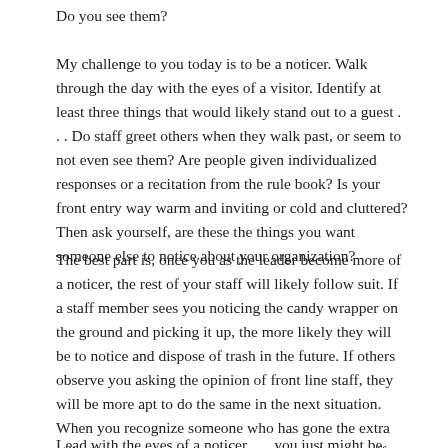Do you see them?
My challenge to you today is to be a noticer. Walk through the day with the eyes of a visitor. Identify at least three things that would likely stand out to a guest . . . Do staff greet others when they walk past, or seem to not even see them? Are people given individualized responses or a recitation from the rule book? Is your front entry way warm and inviting or cold and cluttered? Then ask yourself, are these the things you want someone else to notice about your organization?
The best part is, once you as the leader become more of a noticer, the rest of your staff will likely follow suit. If a staff member sees you noticing the candy wrapper on the ground and picking it up, the more likely they will be to notice and dispose of trash in the future. If others observe you asking the opinion of front line staff, they will be more apt to do the same in the next situation. When you recognize someone who has gone the extra mile, it encourages their colleagues to put in extra effort because they have noticed it is valued.
Lead with the eyes of a noticer . . . you just might be amazed